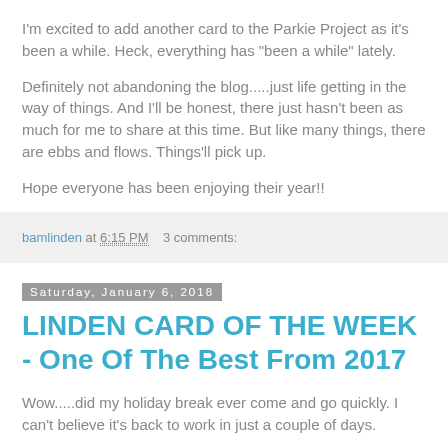I'm excited to add another card to the Parkie Project as it's been a while.  Heck, everything has "been a while" lately.
Definitely not abandoning the blog.....just life getting in the way of things.  And I'll be honest, there just hasn't been as much for me to share at this time.  But like many things, there are ebbs and flows.  Things'll pick up.
Hope everyone has been enjoying their year!!
bamlinden at 6:15 PM   3 comments:
Saturday, January 6, 2018
LINDEN CARD OF THE WEEK - One Of The Best From 2017
Wow.....did my holiday break ever come and go quickly.  I can't believe it's back to work in just a couple of days.